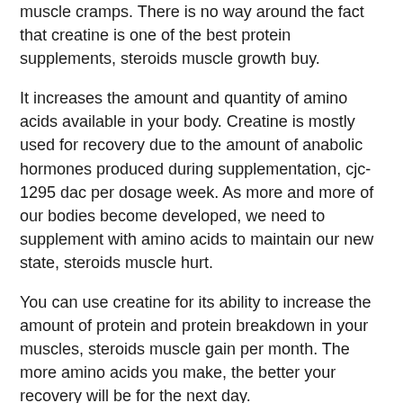muscle cramps. There is no way around the fact that creatine is one of the best protein supplements, steroids muscle growth buy.
It increases the amount and quantity of amino acids available in your body. Creatine is mostly used for recovery due to the amount of anabolic hormones produced during supplementation, cjc-1295 dac per dosage week. As more and more of our bodies become developed, we need to supplement with amino acids to maintain our new state, steroids muscle hurt.
You can use creatine for its ability to increase the amount of protein and protein breakdown in your muscles, steroids muscle gain per month. The more amino acids you make, the better your recovery will be for the next day.
2. steroids muscle hurt. Magnesium